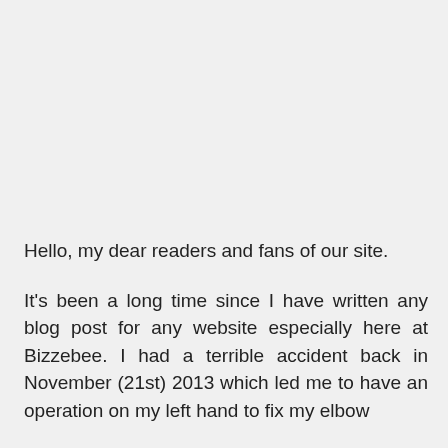Hello, my dear readers and fans of our site.
It's been a long time since I have written any blog post for any website especially here at Bizzebee. I had a terrible accident back in November (21st) 2013 which led me to have an operation on my left hand to fix my elbow